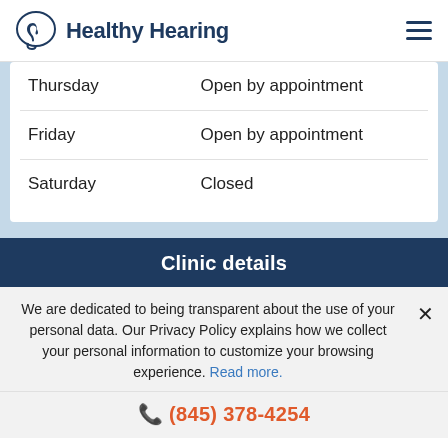Healthy Hearing
| Day | Hours |
| --- | --- |
| Thursday | Open by appointment |
| Friday | Open by appointment |
| Saturday | Closed |
Clinic details
We are dedicated to being transparent about the use of your personal data. Our Privacy Policy explains how we collect your personal information to customize your browsing experience. Read more.
(845) 378-4254